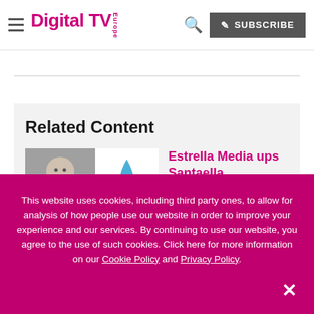Digital TV Europe — SUBSCRIBE
Related Content
[Figure (photo): Thumbnail of a person and a logo for a related article]
Estrella Media ups Santaella
This website uses cookies, including third party ones, to allow for analysis of how people use our website in order to improve your experience and our services. By continuing to use our website, you agree to the use of such cookies. Click here for more information on our Cookie Policy and Privacy Policy.